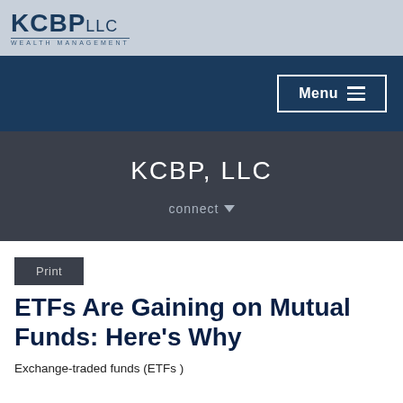[Figure (logo): KCBP LLC Wealth Management logo with gray background]
Menu ≡
KCBP, LLC
connect ▾
Print
ETFs Are Gaining on Mutual Funds: Here's Why
Exchange-traded funds (ETFs)